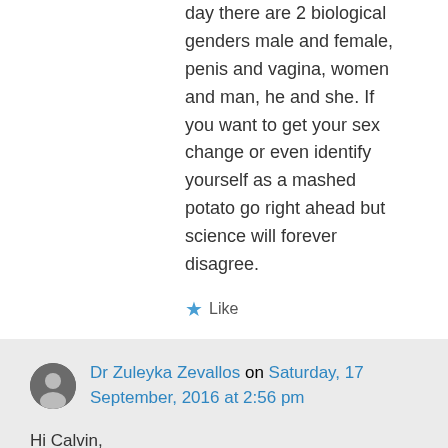day there are 2 biological genders male and female, penis and vagina, women and man, he and she. If you want to get your sex change or even identify yourself as a mashed potato go right ahead but science will forever disagree.
★ Like
Dr Zuleyka Zevallos on Saturday, 17 September, 2016 at 2:56 pm
Hi Calvin,
It must be very scary to live in a world where reading the science showing that the rigid laws about gender you hold dear are not, in fact, real. I make the distinction here between sex (biology) and gender (social...